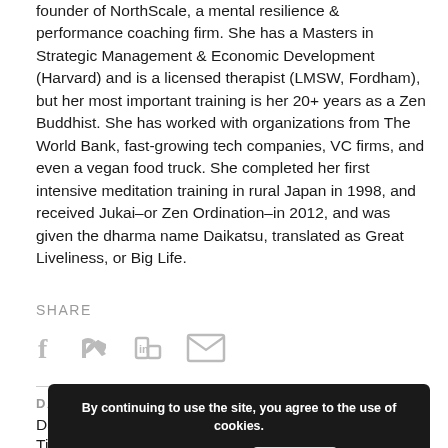founder of NorthScale, a mental resilience & performance coaching firm. She has a Masters in Strategic Management & Economic Development (Harvard) and is a licensed therapist (LMSW, Fordham), but her most important training is her 20+ years as a Zen Buddhist. She has worked with organizations from The World Bank, fast-growing tech companies, VC firms, and even a vegan food truck. She completed her first intensive meditation training in rural Japan in 1998, and received Jukai–or Zen Ordination–in 2012, and was given the dharma name Daikatsu, translated as Great Liveliness, or Big Life.
SHARE
[Figure (infographic): Social sharing icons: Facebook (f), Twitter (bird), LinkedIn (in), Email (envelope)]
DATE TIME
Date: Nov 17, 2021
Time: 6:00 PM to 7:30 PM
By continuing to use the site, you agree to the use of cookies.